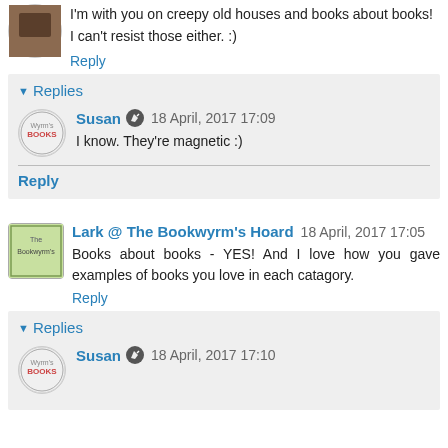I'm with you on creepy old houses and books about books! I can't resist those either. :)
Reply
Replies
Susan  18 April, 2017 17:09
I know. They're magnetic :)
Reply
Lark @ The Bookwyrm's Hoard  18 April, 2017 17:05
Books about books - YES! And I love how you gave examples of books you love in each catagory.
Reply
Replies
Susan  18 April, 2017 17:10